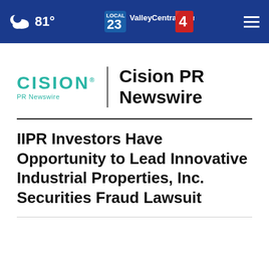81° ValleyCentral.com
[Figure (logo): Cision PR Newswire logo with teal CISION wordmark and vertical divider followed by 'Cision PR Newswire' in bold black text]
IIPR Investors Have Opportunity to Lead Innovative Industrial Properties, Inc. Securities Fraud Lawsuit